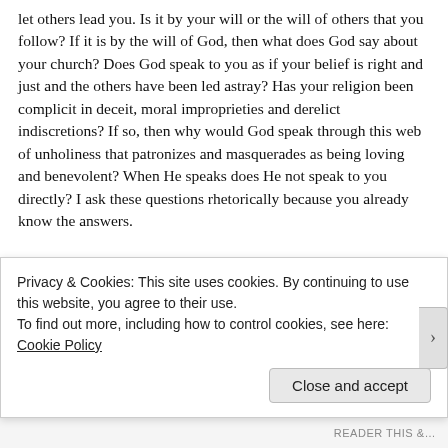let others lead you. Is it by your will or the will of others that you follow? If it is by the will of God, then what does God say about your church? Does God speak to you as if your belief is right and just and the others have been led astray? Has your religion been complicit in deceit, moral improprieties and derelict indiscretions? If so, then why would God speak through this web of unholiness that patronizes and masquerades as being loving and benevolent? When He speaks does He not speak to you directly? I ask these questions rhetorically because you already know the answers.
Ah, but you say, you are of your own mind. Yes, there are those who walk their own path. They tend to be spiritual. They enjoy
Privacy & Cookies: This site uses cookies. By continuing to use this website, you agree to their use.
To find out more, including how to control cookies, see here: Cookie Policy